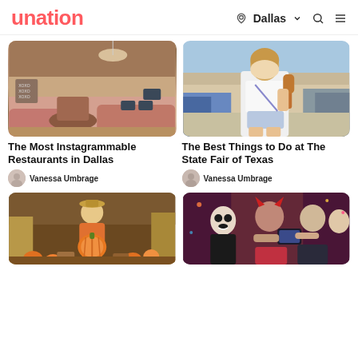unation | Dallas
[Figure (photo): Interior of an upscale restaurant with pink booth seating, round tables, chandeliers, and exposed ceiling structure]
[Figure (photo): Smiling blonde woman in white t-shirt holding a corn dog at The State Fair of Texas, crowd in background]
The Most Instagrammable Restaurants in Dallas
Vanessa Umbrage
The Best Things to Do at The State Fair of Texas
Vanessa Umbrage
[Figure (photo): Woman in orange dress holding a large pumpkin at a pumpkin patch]
[Figure (photo): Group of people in Halloween costumes taking a selfie]